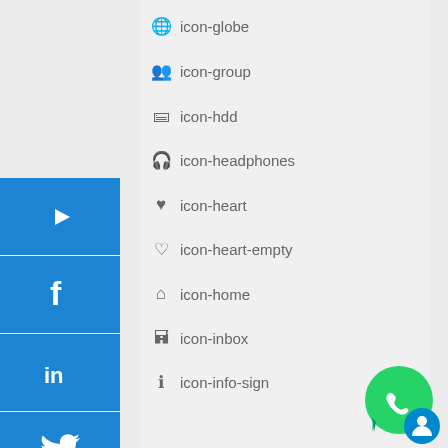[Figure (infographic): Left sidebar with blue social media buttons: YouTube play button, Facebook F, LinkedIn in, Twitter bird, phone handset, shopping cart with plus]
icon-globe
icon-group
icon-hdd
icon-headphones
icon-heart
icon-heart-empty
icon-home
icon-inbox
icon-info-sign
[Figure (logo): WhatsApp green phone bubble icon with a blue circle overlay in bottom right corner]